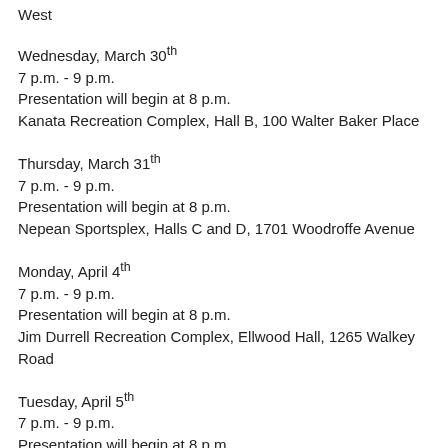West
Wednesday, March 30th
7 p.m. - 9 p.m.
Presentation will begin at 8 p.m.
Kanata Recreation Complex, Hall B, 100 Walter Baker Place
Thursday, March 31th
7 p.m. - 9 p.m.
Presentation will begin at 8 p.m.
Nepean Sportsplex, Halls C and D, 1701 Woodroffe Avenue
Monday, April 4th
7 p.m. - 9 p.m.
Presentation will begin at 8 p.m.
Jim Durrell Recreation Complex, Ellwood Hall, 1265 Walkey Road
Tuesday, April 5th
7 p.m. - 9 p.m.
Presentation will begin at 8 p.m.
Shenkman Arts Centre, Music Rehearsal Hall, 245 Centrum